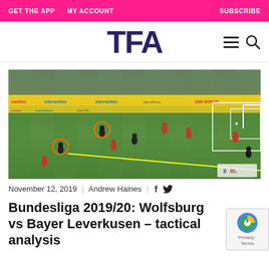GET THE APP   MY ACCOUNT   SUBSCRIBE
[Figure (logo): TFA (The Football Analyst) logo in dark navy/purple bold letters]
[Figure (photo): Football match photo: Wolfsburg vs Bayer Leverkusen Bundesliga match, green pitch, players visible, yellow tactical line drawn across pitch, orange circles highlighting two players]
November 12, 2019  |  Andrew Haines  |  f  tw
Bundesliga 2019/20: Wolfsburg vs Bayer Leverkusen – tactical analysis